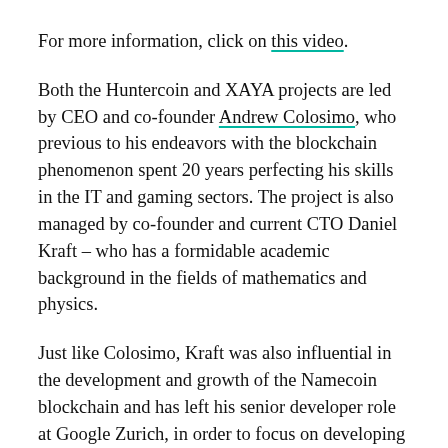For more information, click on this video.
Both the Huntercoin and XAYA projects are led by CEO and co-founder Andrew Colosimo, who previous to his endeavors with the blockchain phenomenon spent 20 years perfecting his skills in the IT and gaming sectors. The project is also managed by co-founder and current CTO Daniel Kraft – who has a formidable academic background in the fields of mathematics and physics.
Just like Colosimo, Kraft was also influential in the development and growth of the Namecoin blockchain and has left his senior developer role at Google Zurich, in order to focus on developing XAYA.